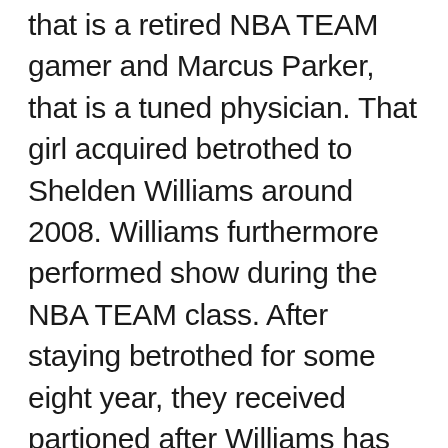that is a retired NBA TEAM gamer and Marcus Parker, that is a tuned physician. That girl acquired betrothed to Shelden Williams around 2008. Williams furthermore performed show during the NBA TEAM class. After staying betrothed for some eight year, they received partioned after Williams has gone onward arranging for divorce pointing out irreconcilable disparities. The happy couple acquired happy with a daughter around 2009. The daughter's name can be Lailaa Nicole Williams.